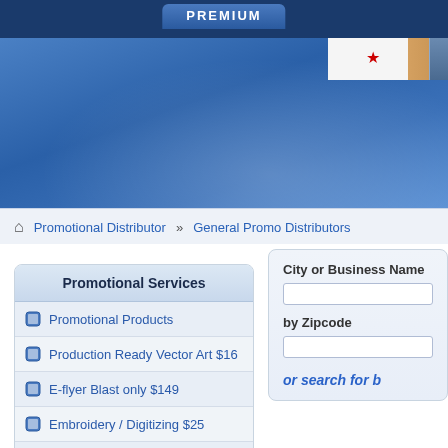PREMIUM
[Figure (screenshot): Blue banner header with California flag visible in upper right corner]
Promotional Distributor » General Promo Distributors
Promotional Services
Promotional Products
Production Ready Vector Art $16
E-flyer Blast only $149
Embroidery / Digitizing $25
Digital Page Flip Catalogs
NEW Your e-mail Marketing
Your ecommerce web presence
City or Business Name
by Zipcode
or search for b